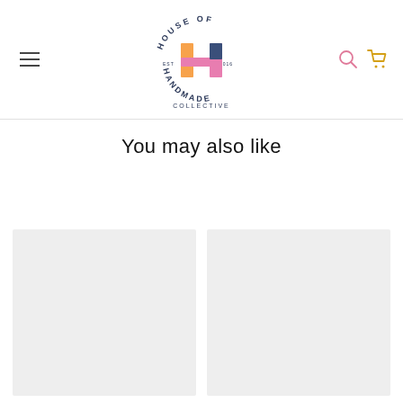[Figure (logo): House of Handmade Collective logo — circular text 'HOUSE OF' arched on top, 'HANDMADE' arched on bottom, 'COLLECTIVE' at base, with a colorful H letter in the center (pink, orange, blue), est 2016]
You may also like
[Figure (photo): Product image placeholder — light grey rectangle (left card)]
[Figure (photo): Product image placeholder — light grey rectangle (right card)]